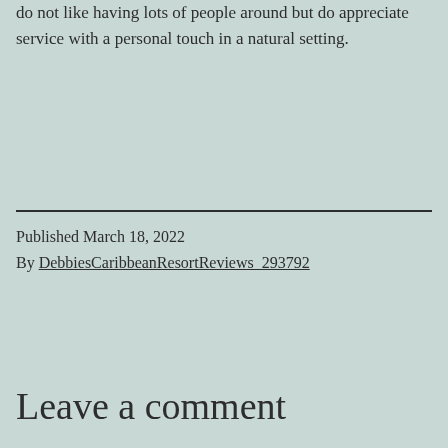do not like having lots of people around but do appreciate service with a personal touch in a natural setting.
Published March 18, 2022
By DebbiesCaribbeanResortReviews_293792
Leave a comment